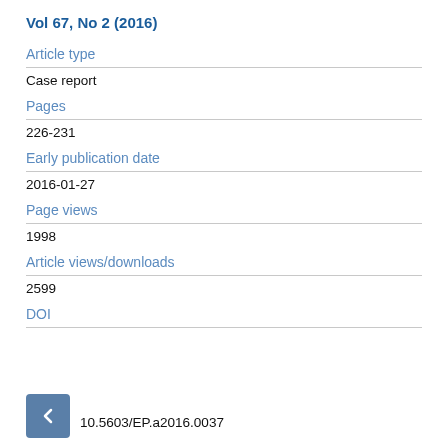Vol 67, No 2 (2016)
Article type
Case report
Pages
226-231
Early publication date
2016-01-27
Page views
1998
Article views/downloads
2599
DOI
10.5603/EP.a2016.0037